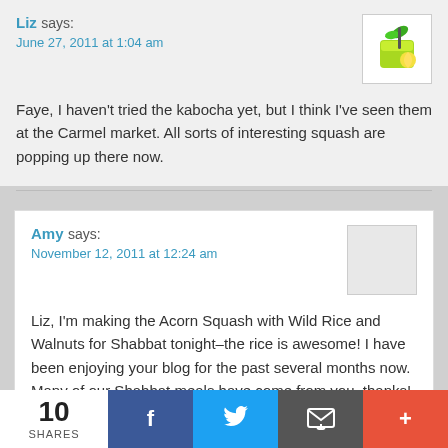Liz says:
June 27, 2011 at 1:04 am

Faye, I haven't tried the kabocha yet, but I think I've seen them at the Carmel market. All sorts of interesting squash are popping up there now.
[Figure (illustration): Green smoothie/drink with a lemon slice icon on white background]
Amy says:
November 12, 2011 at 12:24 am

Liz, I'm making the Acorn Squash with Wild Rice and Walnuts for Shabbat tonight–the rice is awesome! I have been enjoying your blog for the past several months now. Many of our Shabbat meals have come from you–thanks! I noticed in one of your posts that you were influnced by the
10
SHARES